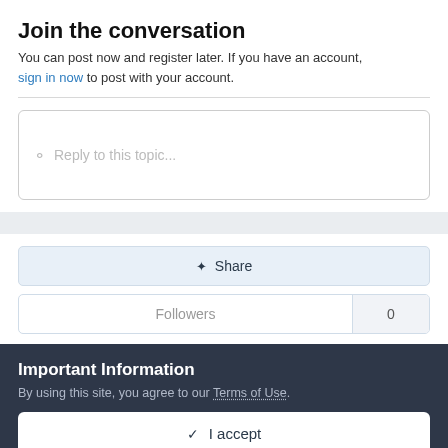Join the conversation
You can post now and register later. If you have an account, sign in now to post with your account.
Reply to this topic...
Share
Followers  0
Important Information
By using this site, you agree to our Terms of Use.
I accept